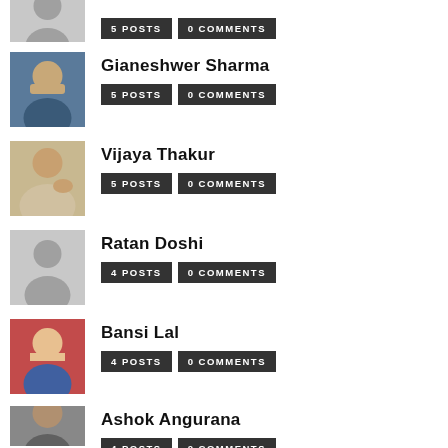[Figure (photo): Partial avatar photo at top, cropped]
5POSTS  0COMMENTS
[Figure (photo): Profile photo of Gianeshwer Sharma]
Gianeshwer Sharma
5POSTS  0COMMENTS
[Figure (photo): Profile photo of Vijaya Thakur]
Vijaya Thakur
5POSTS  0COMMENTS
[Figure (photo): Default avatar (silhouette) for Ratan Doshi]
Ratan Doshi
4POSTS  0COMMENTS
[Figure (photo): Profile photo of Bansi Lal]
Bansi Lal
4POSTS  0COMMENTS
[Figure (photo): Profile photo of Ashok Angurana (partial)]
Ashok Angurana
4POSTS  0COMMENTS